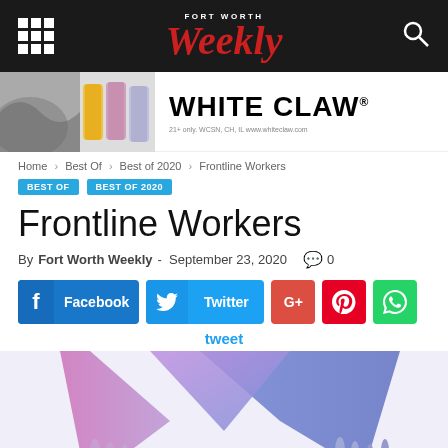FORT WORTH Weekly
[Figure (photo): White Claw advertisement banner with ocean wave and cans on left, WHITE CLAW logo and tagline on right]
Home › Best Of › Best of 2020 › Frontline Workers
BEST OF   BEST OF 2020
Frontline Workers
By Fort Worth Weekly - September 23, 2020   0
[Figure (screenshot): Social media share buttons: Facebook, Twitter, Google+, Pinterest, WhatsApp, and tweet label]
[Figure (illustration): Colorful purple and blue dripping paint art illustration]